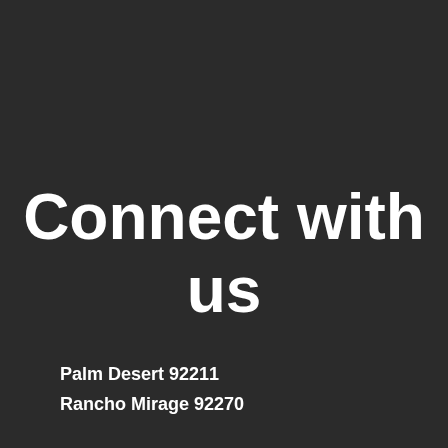Connect with us
Palm Desert 92211
Rancho Mirage 92270